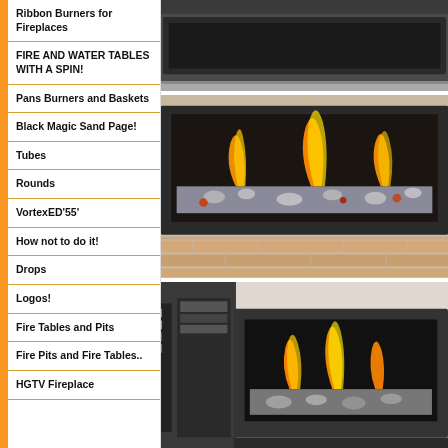Ribbon Burners for Fireplaces
FIRE AND WATER TABLES WITH A SPIN!
Pans Burners and Baskets
Black Magic Sand Page!
Tubes
Rounds
VortexED'55'
How not to do it!
Drops
Logos!
Fire Tables and Pits
Fire Pits and Fire Tables..
HGTV Fireplace
[Figure (photo): Dark metal ribbon burner fireplace viewed from above]
[Figure (photo): Linear fireplace with fire glass and flame in dark surround]
[Figure (photo): Modern fireplace with flames and fire glass in dark frame]